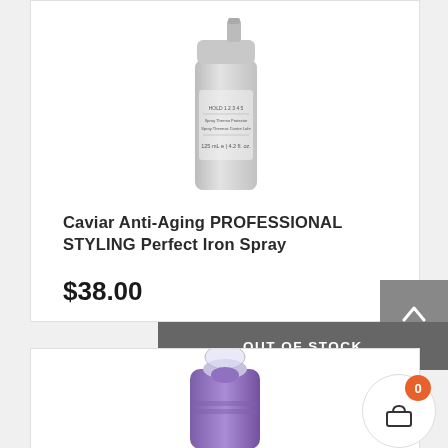[Figure (photo): Silver/gray cylindrical spray bottle product image (top portion visible) for Caviar Anti-Aging Professional Styling Perfect Iron Spray]
Caviar Anti-Aging PROFESSIONAL STYLING Perfect Iron Spray
$38.00
OUT OF STOCK
[Figure (photo): Purple spray bottle product image (bottom of page, partially visible) with clear cap]